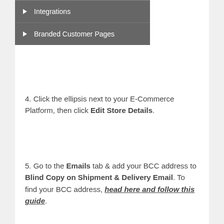Integrations
Branded Customer Pages
4. Click the ellipsis next to your E-Commerce Platform, then click Edit Store Details.
5. Go to the Emails tab & add your BCC address to Blind Copy on Shipment & Delivery Email. To find your BCC address, head here and follow this guide.